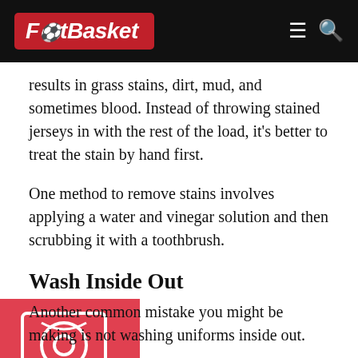FootBasket
results in grass stains, dirt, mud, and sometimes blood. Instead of throwing stained jerseys in with the rest of the load, it’s better to treat the stain by hand first.
One method to remove stains involves applying a water and vinegar solution and then scrubbing it with a toothbrush.
Wash Inside Out
Another common mistake you might be making is not washing uniforms inside out.